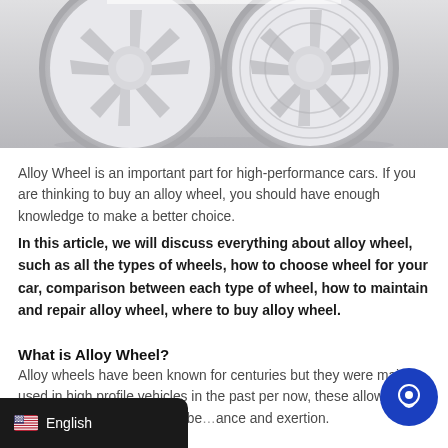[Figure (photo): Close-up photo of a gray/white alloy wheel with intricate lattice/honeycomb spoke design, shown against a light gray background]
Alloy Wheel is an important part for high-performance cars. If you are thinking to buy an alloy wheel, you should have enough knowledge to make a better choice.
In this article, we will discuss everything about alloy wheel, such as all the types of wheels, how to choose wheel for your car, comparison between each type of wheel, how to maintain and repair alloy wheel, where to buy alloy wheel.
What is Alloy Wheel?
Alloy wheels have been known for centuries but they were mainly used in high profile vehicles in the past per now, these allow wheels are in high demand be... ance and exertion.